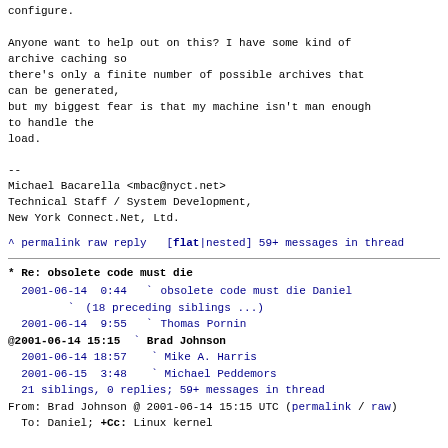configure.

Anyone want to help out on this? I have some kind of archive caching so
there's only a finite number of possible archives that can be generated,
but my biggest fear is that my machine isn't man enough to handle the
load.

--
Michael Bacarella <mbac@nyct.net>
Technical Staff / System Development,
New York Connect.Net, Ltd.
^ permalink raw reply   [flat|nested] 59+ messages in thread
* Re: obsolete code must die
  2001-06-14  0:44  ` obsolete code must die Daniel
                    ` (18 preceding siblings ...)
  2001-06-14  9:55  ` Thomas Pornin
@ 2001-06-14 15:15  ` Brad Johnson
  2001-06-14 18:57  ` Mike A. Harris
  2001-06-15  3:48  ` Michael Peddemors
  21 siblings, 0 replies; 59+ messages in thread
From: Brad Johnson @ 2001-06-14 15:15 UTC (permalink / raw)
  To: Daniel; +Cc: Linux kernel